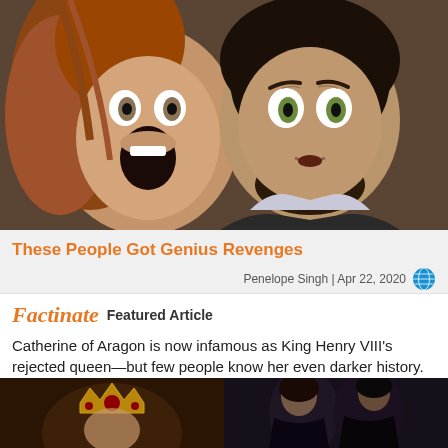[Figure (photo): Two people with dramatic expressions — a woman on the left with mouth wide open in a scream, and a man on the right with wide eyes looking shocked/frightened]
These People Got Genius Revenges
Penelope Singh | Apr 22, 2020
Factinate  Featured Article
Catherine of Aragon is now infamous as King Henry VIII's rejected queen—but few people know her even darker history.
[Figure (photo): Two side-by-side photos at bottom: left shows a figure with a crown in dark tones, right shows two dark-clothed figures]